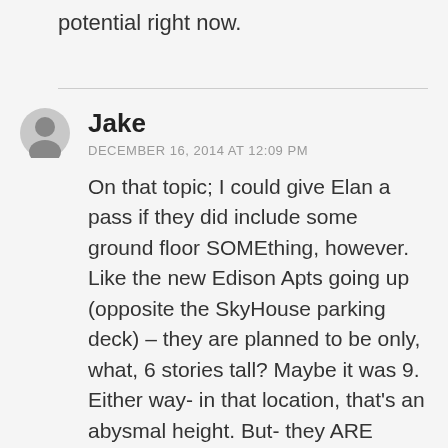potential right now.
Jake
DECEMBER 16, 2014 AT 12:09 PM
On that topic; I could give Elan a pass if they did include some ground floor SOMEthing, however. Like the new Edison Apts going up (opposite the SkyHouse parking deck) – they are planned to be only, what, 6 stories tall? Maybe it was 9. Either way- in that location, that's an abysmal height. But- they ARE going to load that block with retail/restaurant space, so it's not a total loss.